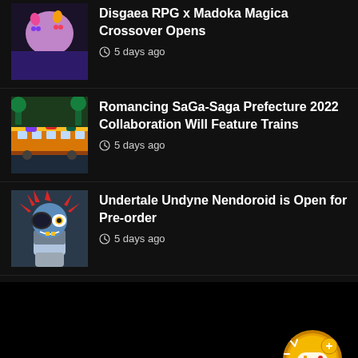Disgaea RPG x Madoka Magica Crossover Opens — 5 days ago
Romancing SaGa-Saga Prefecture 2022 Collaboration Will Feature Trains — 5 days ago
Undertale Undyne Nendoroid is Open for Pre-order — 5 days ago
[Figure (screenshot): Dark bottom area with a golden game controller floating action button in bottom-right corner]